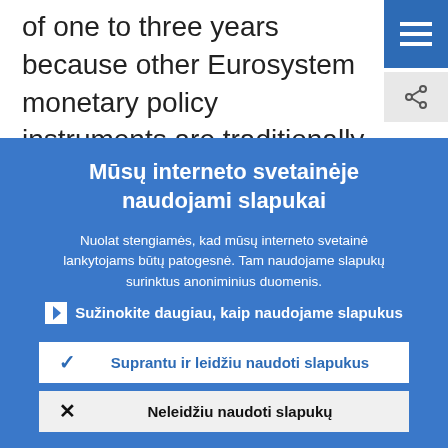of one to three years because other Eurosystem monetary policy instruments are traditionally geared towards this shor t... period.
Mūsų interneto svetainėje naudojami slapukai
Nuolat stengiamės, kad mūsų interneto svetainė lankytojams būtų patogesnė. Tam naudojame slapukų surinktus anoniminius duomenis.
Sužinokite daugiau, kaip naudojame slapukus
Suprantu ir leidžiu naudoti slapukus
Neleidžiu naudoti slapukų